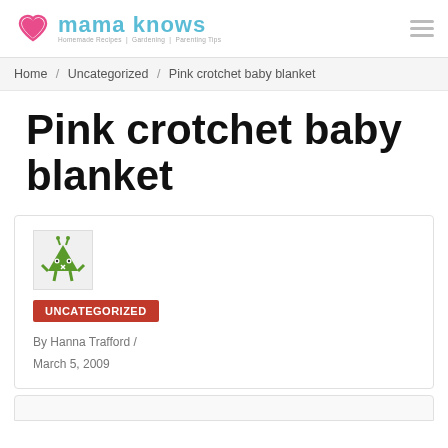Mama Knows — Homemade Recipes | Gardening | Parenting Tips
Home / Uncategorized / Pink crotchet baby blanket
Pink crotchet baby blanket
[Figure (illustration): Author avatar: green cartoon character shaped like an inverted triangle with arms and legs, white background]
UNCATEGORIZED
By Hanna Trafford / March 5, 2009